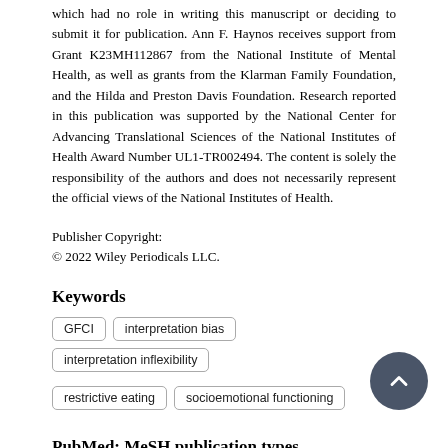which had no role in writing this manuscript or deciding to submit it for publication. Ann F. Haynos receives support from Grant K23MH112867 from the National Institute of Mental Health, as well as grants from the Klarman Family Foundation, and the Hilda and Preston Davis Foundation. Research reported in this publication was supported by the National Center for Advancing Translational Sciences of the National Institutes of Health Award Number UL1-TR002494. The content is solely the responsibility of the authors and does not necessarily represent the official views of the National Institutes of Health.
Publisher Copyright:
© 2022 Wiley Periodicals LLC.
Keywords
GFCI
interpretation bias
interpretation inflexibility
restrictive eating
socioemotional functioning
PubMed: MeSH publication types
Journal Article
Research Support, N.I.H., Extramural